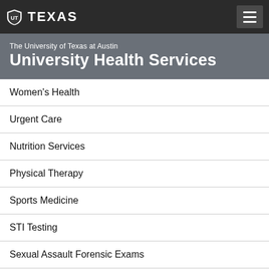TEXAS — University of Texas at Austin University Health Services navigation header
The University of Texas at Austin
University Health Services
Women's Health
Urgent Care
Nutrition Services
Physical Therapy
Sports Medicine
STI Testing
Sexual Assault Forensic Exams
Emergency HIV Risk Reduction